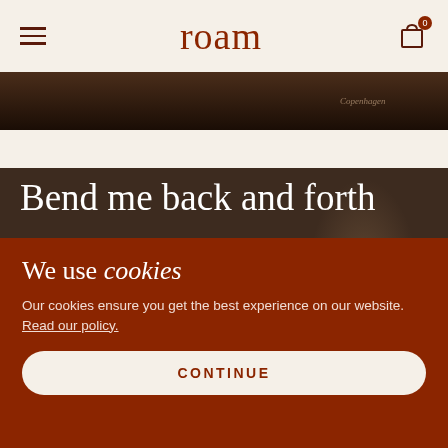roam
[Figure (photo): Dark brown product image strip, partially visible at top of page with text 'Copenhagen' visible]
Bend me back and forth
Multi-flexible body to help you achieve your pleasure
We use cookies
Our cookies ensure you get the best experience on our website. Read our policy.
CONTINUE